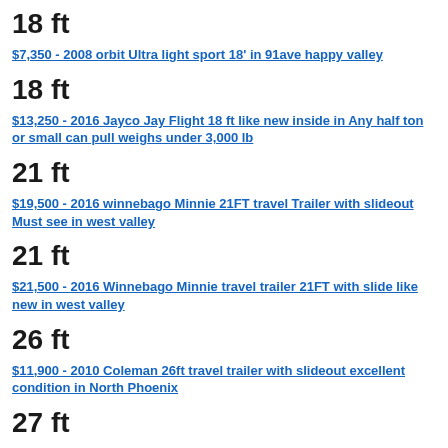18 ft
$7,350 - 2008 orbit Ultra light sport 18' in 91ave happy valley
18 ft
$13,250 - 2016 Jayco Jay Flight 18 ft like new inside in Any half ton or small can pull weighs under 3,000 lb
21 ft
$19,500 - 2016 winnebago Minnie 21FT travel Trailer with slideout Must see in west valley
21 ft
$21,500 - 2016 Winnebago Minnie travel trailer 21FT with slide like new in west valley
26 ft
$11,900 - 2010 Coleman 26ft travel trailer with slideout excellent condition in North Phoenix
27 ft
$14,700 - 2015 Surveyor Select By Forest River 27ft Travel Trailer 2 Slide Out in Phoenix